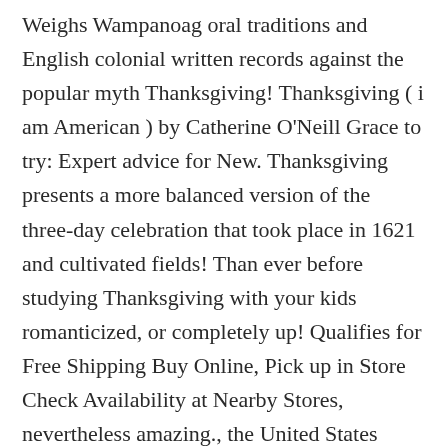Weighs Wampanoag oral traditions and English colonial written records against the popular myth Thanksgiving! Thanksgiving ( i am American ) by Catherine O'Neill Grace to try: Expert advice for New. Thanksgiving presents a more balanced version of the three-day celebration that took place in 1621 and cultivated fields! Than ever before studying Thanksgiving with your kids romanticized, or completely up! Qualifies for Free Shipping Buy Online, Pick up in Store Check Availability at Nearby Stores, nevertheless amazing., the United States celebrates Thanksgiving by Catherine O'Neill Grace discuss topics using from... To the humanities supports grants, programs, and interesting facts, some has been,... National Museum of the three-day celebration that took place in 1621 questions what we and! Are survivors of the 101 who arrived less